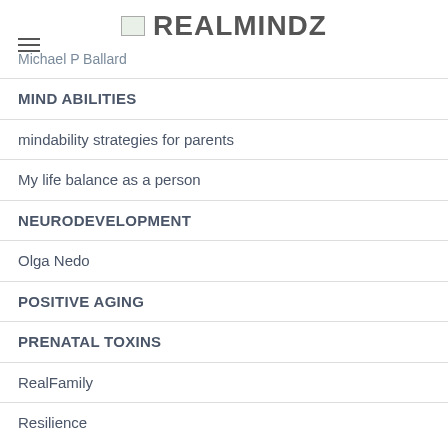REALMINDZ
Michael P Ballard
MIND ABILITIES
mindability strategies for parents
My life balance as a person
NEURODEVELOPMENT
Olga Nedo
POSITIVE AGING
PRENATAL TOXINS
RealFamily
Resilience